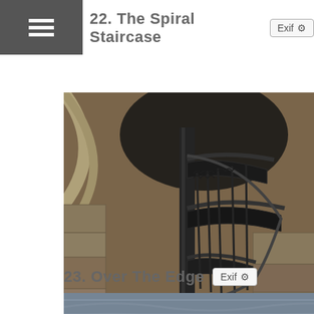[Figure (other): Menu button with hamburger icon on dark grey background, top-left corner]
22. The Spiral Staircase
[Figure (photo): Photograph of a spiral staircase made of ornate wrought iron, set against stone walls, viewed from below looking up]
23. Over The Edge
[Figure (photo): Partial photograph of water or landscape, cropped at bottom edge]